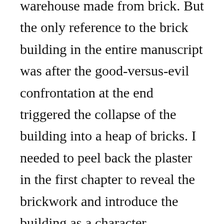warehouse made from brick. But the only reference to the brick building in the entire manuscript was after the good-versus-evil confrontation at the end triggered the collapse of the building into a heap of bricks. I needed to peel back the plaster in the first chapter to reveal the brickwork and introduce the building as a character.
Since description is my greatest weakness as a writer, I spent four hours last night working on this one paragraph :
Amy crossed her legs underneath the table and folded her hands in front of her, looking prim and proper and expecting someone to come in